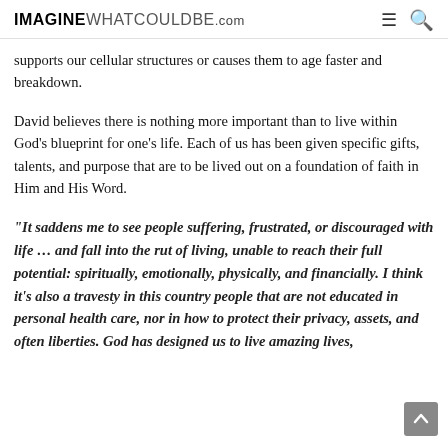IMAGINEWHATCOULDBE.com
supports our cellular structures or causes them to age faster and breakdown.
David believes there is nothing more important than to live within God’s blueprint for one’s life. Each of us has been given specific gifts, talents, and purpose that are to be lived out on a foundation of faith in Him and His Word.
“It saddens me to see people suffering, frustrated, or discouraged with life … and fall into the rut of living, unable to reach their full potential: spiritually, emotionally, physically, and financially. I think it’s also a travesty in this country people that are not educated in personal health care, nor in how to protect their privacy, assets, and often liberties. God has designed us to live amazing lives,